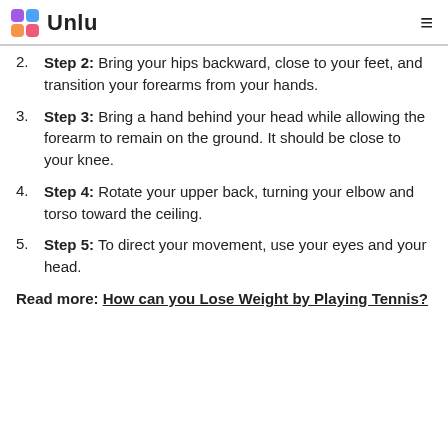Unlu
Step 2: Bring your hips backward, close to your feet, and transition your forearms from your hands.
Step 3: Bring a hand behind your head while allowing the forearm to remain on the ground. It should be close to your knee.
Step 4: Rotate your upper back, turning your elbow and torso toward the ceiling.
Step 5: To direct your movement, use your eyes and your head.
Read more: How can you Lose Weight by Playing Tennis?